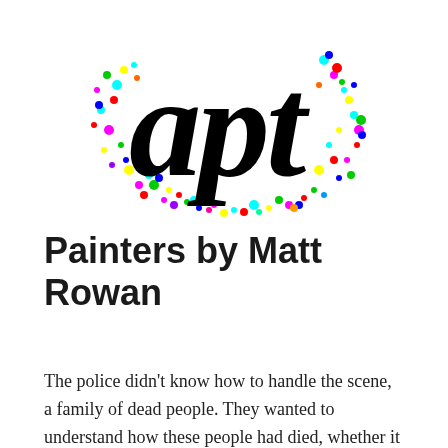[Figure (logo): The word 'apt' in large black italic bold script font, surrounded by colorful confetti-like dots in cyan, magenta, yellow, red, green, and blue colors scattered around the letters]
Painters by Matt Rowan
The police didn't know how to handle the scene, a family of dead people. They wanted to understand how these people had died, whether it was murders. But they didn't have the facts. So they couldn't say with certainty. They proceeded, instead, with head scratching and coffee-cup clutching near the cordoned-off crime